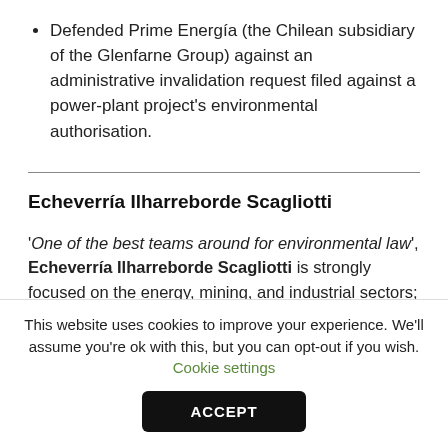Defended Prime Energía (the Chilean subsidiary of the Glenfarne Group) against an administrative invalidation request filed against a power-plant project's environmental authorisation.
Echeverría Ilharreborde Scagliotti
'One of the best teams around for environmental law', Echeverría Ilharreborde Scagliotti is strongly focused on the energy, mining, and industrial sectors; and -in addition to the group's notable corporate law
This website uses cookies to improve your experience. We'll assume you're ok with this, but you can opt-out if you wish. Cookie settings